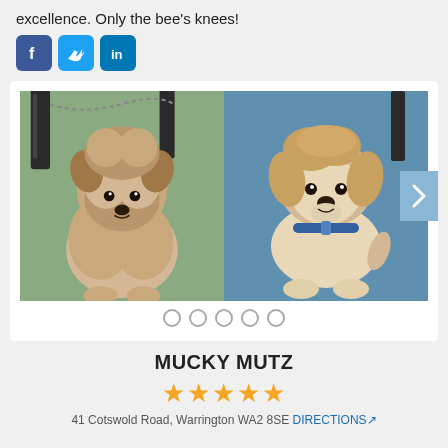excellence. Only the bee's knees!
[Figure (other): Social media icons: Facebook (blue square with F), Twitter (blue bird), LinkedIn (blue square with 'in')]
[Figure (photo): Two photos of a Shih Tzu dog side by side: left photo shows the dog before grooming (fluffy, ungroomed coat, sitting on green surface), right photo shows the dog after grooming (neatly trimmed, wearing blue collar, sitting on blue surface). Carousel with 5 dot indicators below.]
MUCKY MUTZ
★★★★★
41 Cotswold Road, Warrington WA2 8SE DIRECTIONS